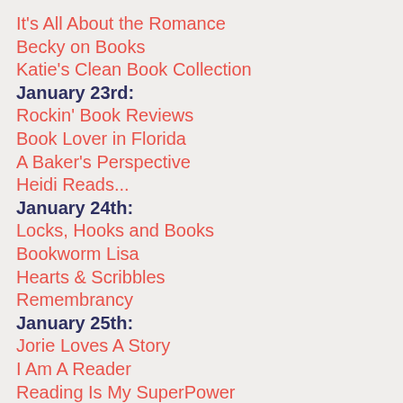It's All About the Romance
Becky on Books
Katie's Clean Book Collection
January 23rd:
Rockin' Book Reviews
Book Lover in Florida
A Baker's Perspective
Heidi Reads...
January 24th:
Locks, Hooks and Books
Bookworm Lisa
Hearts & Scribbles
Remembrancy
January 25th:
Jorie Loves A Story
I Am A Reader
Reading Is My SuperPower
Nicole's Book Musings
Two Girls and a Book
January 26th:
Thoughts of a Blonde
The Bookworm Chronicles